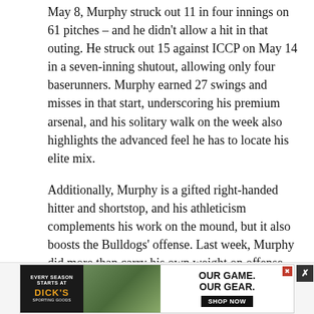May 8, Murphy struck out 11 in four innings on 61 pitches – and he didn't allow a hit in that outing. He struck out 15 against ICCP on May 14 in a seven-inning shutout, allowing only four baserunners. Murphy earned 27 swings and misses in that start, underscoring his premium arsenal, and his solitary walk on the week also highlights the advanced feel he has to locate his elite mix.
Additionally, Murphy is a gifted right-handed hitter and shortstop, and his athleticism complements his work on the mound, but it also boosts the Bulldogs' offense. Last week, Murphy did more than carry his own weight on offense, as he was 9-for-17 from the batter's box with two doubles, two triples, that generated eight runs scored, seven RBIs, and he also took three walks and stole a base, too.
Here Murphy continues past his …this past
[Figure (other): Advertisement banner for Dick's Sporting Goods with tagline 'OUR GAME. OUR GEAR.' and a SHOP NOW button, with a photo of a baseball player.]